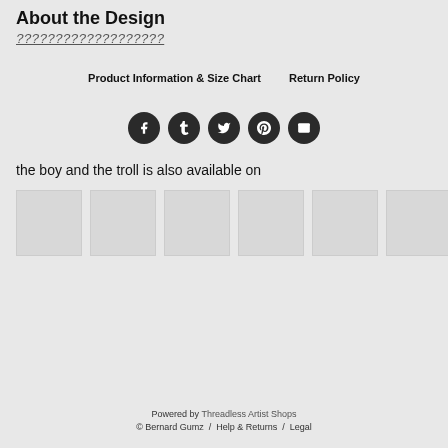About the Design
???????????????????
Product Information & Size Chart     Return Policy
[Figure (infographic): Five social media icons (Facebook, Tumblr, Twitter, Pinterest, Email) as dark circular buttons]
the boy and the troll is also available on
[Figure (infographic): Six light gray product thumbnail placeholder images in a row]
Powered by Threadless Artist Shops
© Bernard Gumz  /  Help & Returns  /  Legal